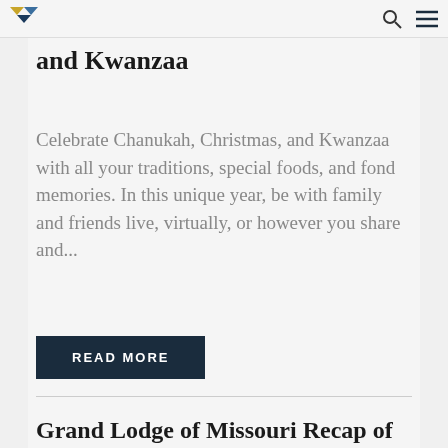and Kwanzaa
Celebrate Chanukah, Christmas, and Kwanzaa with all your traditions, special foods, and fond memories. In this unique year, be with family and friends live, virtually, or however you share and...
READ MORE
Grand Lodge of Missouri Recap of the 149th Annual Grand Lodge Convention